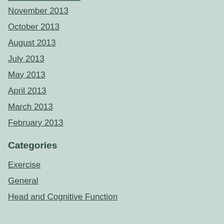November 2013
October 2013
August 2013
July 2013
May 2013
April 2013
March 2013
February 2013
Categories
Exercise
General
Head and Cognitive Function